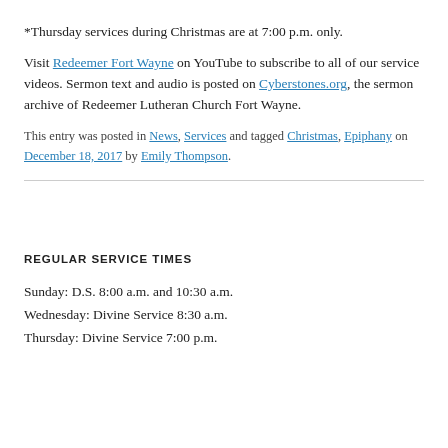*Thursday services during Christmas are at 7:00 p.m. only.
Visit Redeemer Fort Wayne on YouTube to subscribe to all of our service videos. Sermon text and audio is posted on Cyberstones.org, the sermon archive of Redeemer Lutheran Church Fort Wayne.
This entry was posted in News, Services and tagged Christmas, Epiphany on December 18, 2017 by Emily Thompson.
REGULAR SERVICE TIMES
Sunday: D.S. 8:00 a.m. and 10:30 a.m.
Wednesday: Divine Service 8:30 a.m.
Thursday: Divine Service 7:00 p.m.